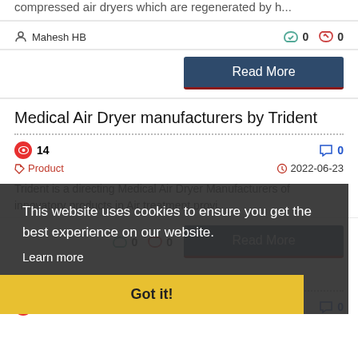compressed air dryers which are regenerated by h...
Mahesh HB  👍 0  👎 0
Read More
Medical Air Dryer manufacturers by Trident
👁 14   💬 0   🏷 Product   🕐 2022-06-23
Trident is a directing Medical Air Dryer Manufacturers of innovatory products in Air treatment provi...
👍 0  👎 0
Read More
This website uses cookies to ensure you get the best experience on our website.
Learn more
Got it!
Air Dryer Unit | Air dryer price | Trident ..
15   💬 0